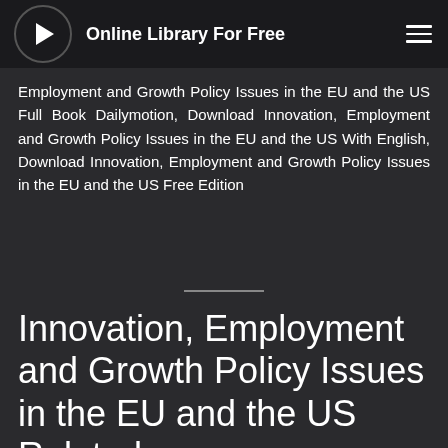Online Library For Free
Employment and Growth Policy Issues in the EU and the US Full Book Dailymotion, Download Innovation, Employment and Growth Policy Issues in the EU and the US With English, Download Innovation, Employment and Growth Policy Issues in the EU and the US Free Edition
Innovation, Employment and Growth Policy Issues in the EU and the US Related